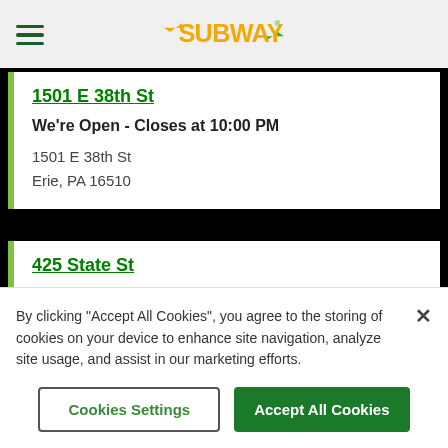SUBWAY (logo and navigation)
1501 E 38th St
We're Open - Closes at 10:00 PM
1501 E 38th St
Erie, PA 16510
425 State St
We're Open - Closes at 10:00 PM
425 State St
Erie, PA 16501
By clicking “Accept All Cookies”, you agree to the storing of cookies on your device to enhance site navigation, analyze site usage, and assist in our marketing efforts.
Cookies Settings
Accept All Cookies